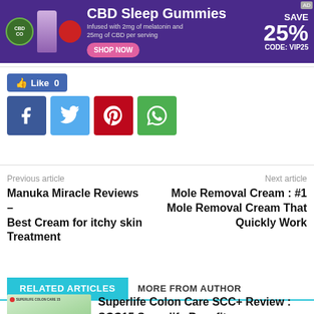[Figure (other): CBD Sleep Gummies advertisement banner with purple background, product bottle, fruits, logo, SAVE 25% CODE: VIP25, and SHOP NOW button]
[Figure (other): Social media buttons: Like 0 (Facebook like), Facebook share, Twitter share, Pinterest share, WhatsApp share]
Previous article
Manuka Miracle Reviews – Best Cream for itchy skin Treatment
Next article
Mole Removal Cream : #1 Mole Removal Cream That Quickly Work
RELATED ARTICLES   MORE FROM AUTHOR
Superlife Colon Care SCC+ Review : SCC15 Superlife Benefits